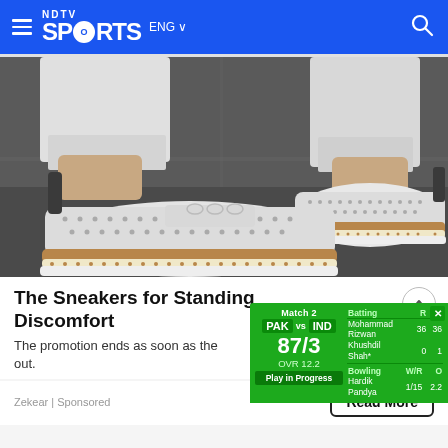NDTV Sports ENG
[Figure (photo): Close-up photo of a person wearing white sneakers with perforated design and tan/brown espadrille-style soles, standing on a dark pavement. The person is wearing white jeans/pants.]
The Sneakers for Standing Discomfort
The promotion ends as soon as the out.
Zekear | Sponsored
[Figure (infographic): Cricket scorecard overlay showing Match 2, PAK vs IND. Batting: Mohammad Rizwan 36 R 36 B; Khushdil Shah* 0 R 1 B. Bowling: Hardik Pandya 1/15 W/R 2.2 O. Score: 87/3, OVR 12.2, Play in Progress.]
Read More